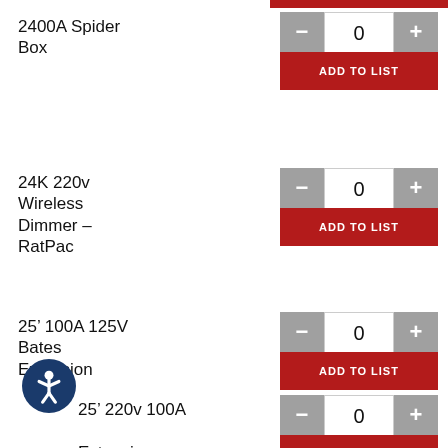2400A Spider Box
24K 220v Wireless Dimmer – RatPac
25' 100A 125V Bates Extension
25' 220v 100A Bates Extension